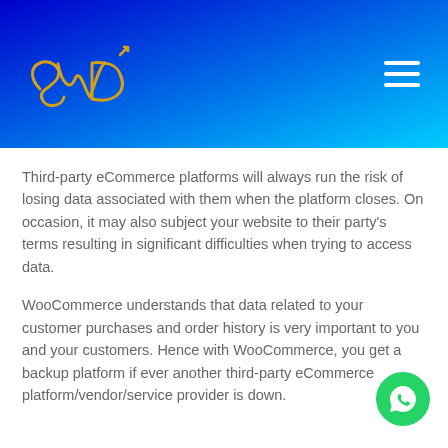[Figure (logo): SWD cursive logo in gold on blue-to-cyan gradient header with hamburger menu icon]
Third-party eCommerce platforms will always run the risk of losing data associated with them when the platform closes. On occasion, it may also subject your website to their party's terms resulting in significant difficulties when trying to access data.
WooCommerce understands that data related to your customer purchases and order history is very important to you and your customers. Hence with WooCommerce, you get a backup platform if ever another third-party eCommerce platform/vendor/service provider is down.